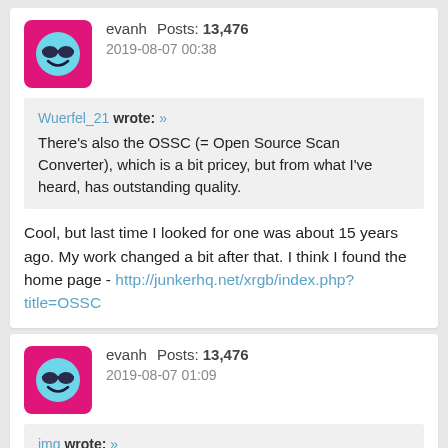[Figure (other): User avatar: pink/magenta rounded square background with a blue smiley face wearing sunglasses icon]
evanh   Posts: 13,476
2019-08-07 00:38
Wuerfel_21 wrote: »
There's also the OSSC (= Open Source Scan Converter), which is a bit pricey, but from what I've heard, has outstanding quality.
Cool, but last time I looked for one was about 15 years ago. My work changed a bit after that. I think I found the home page - http://junkerhq.net/xrgb/index.php?title=OSSC
[Figure (other): User avatar: pink/magenta rounded square background with a blue smiley face wearing sunglasses icon]
evanh   Posts: 13,476
2019-08-07 01:09
jmg wrote: »
ADAU7112 : Stereo PDM to I2S/TDM Converter